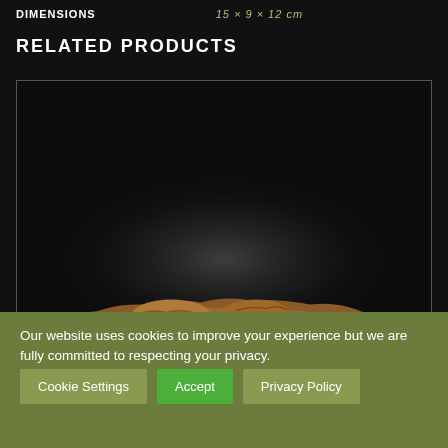DIMENSIONS    15 × 9 × 12 cm
RELATED PRODUCTS
[Figure (photo): A wooden carved sculpture partially visible at the bottom of a product image box with dark background and spotlight effect.]
Our website uses cookies to improve your experience but we are fully committed to respecting your privacy.
Cookie Settings   Accept   Privacy Policy